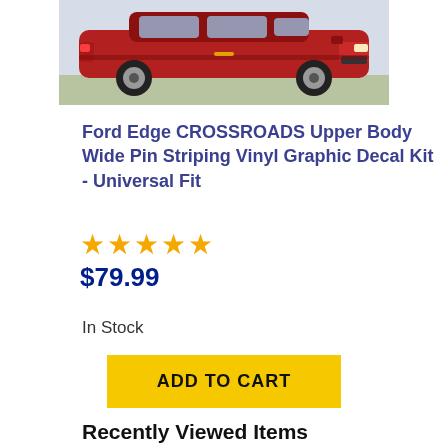[Figure (photo): Red Ford Edge SUV parked, side view, shown against a light outdoor background.]
Ford Edge CROSSROADS Upper Body Wide Pin Striping Vinyl Graphic Decal Kit - Universal Fit
★★★★★
$79.99
In Stock
ADD TO CART
Recently Viewed Items